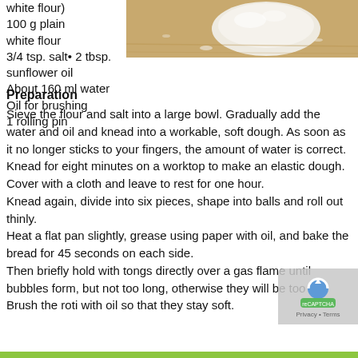[Figure (photo): Photo of dough ball on a wooden surface dusted with flour]
white flour)
100 g plain white flour
3/4 tsp. salt• 2 tbsp. sunflower oil
About 160 ml water
Oil for brushing
1 rolling pin
Preparation
Sieve the flour and salt into a large bowl. Gradually add the water and oil and knead into a workable, soft dough. As soon as it no longer sticks to your fingers, the amount of water is correct. Knead for eight minutes on a worktop to make an elastic dough. Cover with a cloth and leave to rest for one hour.
Knead again, divide into six pieces, shape into balls and roll out thinly.
Heat a flat pan slightly, grease using paper with oil, and bake the bread for 45 seconds on each side.
Then briefly hold with tongs directly over a gas flame until bubbles form, but not too long, otherwise they will be too
Brush the roti with oil so that they stay soft.